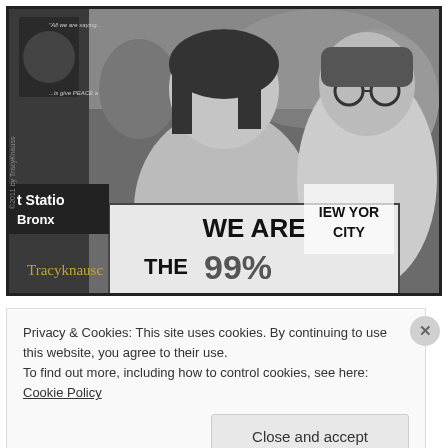[Figure (photo): Black and white photograph of protest marchers. A man in the center holds a sign reading 'WE ARE THE 99%'. A person on the right wears a 'NEW YORK CITY' shirt. Background shows a poster reading 'All we are saying... is give PEACE a chance.' and a sign for 'Station Bronx'. A gold cursive watermark/signature appears at the bottom left.]
Privacy & Cookies: This site uses cookies. By continuing to use this website, you agree to their use.
To find out more, including how to control cookies, see here: Cookie Policy
Close and accept